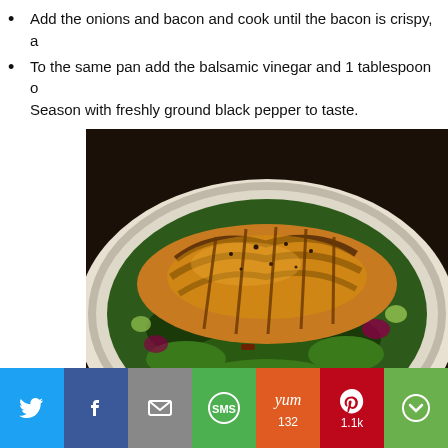Add the onions and bacon and cook until the bacon is crispy, a
To the same pan add the balsamic vinegar and 1 tablespoon o… Season with freshly ground black pepper to taste.
[Figure (photo): A plate of BLT Chicken Salad — grilled sliced chicken breast over a bed of mixed greens, spinach, tomatoes, red onion, and bacon, served on a decorative plate. Text overlay reads 'BLT Chicken Salad'.]
[Figure (infographic): Social sharing bar with buttons for Twitter, Facebook, Email, SMS, Yummly (132), Pinterest (1.1k), and More.]